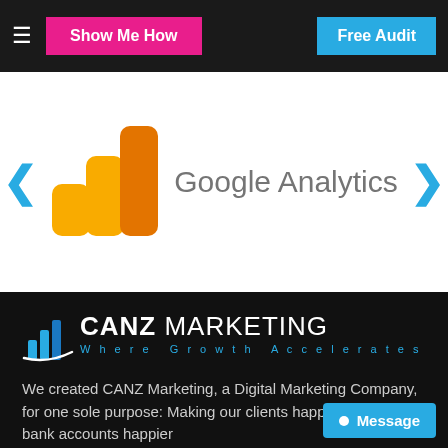≡  Show Me How    Free Audit
[Figure (logo): Google Analytics logo with colored bar chart icon (yellow-orange stacked bars) and text 'Google Analytics' in gray, displayed inside a carousel with blue left and right arrow navigation buttons]
[Figure (logo): CANZ Marketing logo: blue bar chart icon with swoosh, text 'CANZ MARKETING' in white/bold and tagline 'Where Growth Accelerates' in blue]
We created CANZ Marketing, a Digital Marketing Company, for one sole purpose: Making our clients happy, and their bank accounts happier